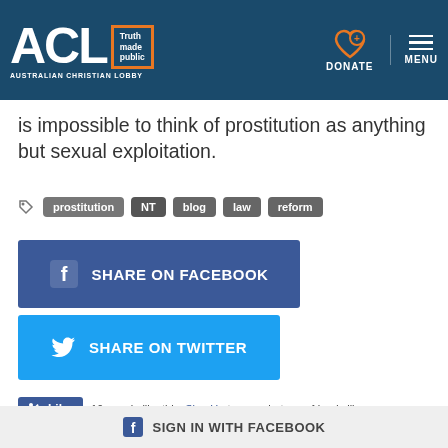[Figure (logo): ACL Australian Christian Lobby logo with orange border, white text on dark blue header. DONATE and MENU navigation items on right side.]
is impossible to think of prostitution as anything but sexual exploitation.
prostitution  NT  blog  law  reform
[Figure (infographic): SHARE ON FACEBOOK button - dark blue rectangle with Facebook icon]
[Figure (infographic): SHARE ON TWITTER button - light blue rectangle with Twitter bird icon]
19 people like this. Sign Up to see what your friends like.
SIGN IN WITH FACEBOOK